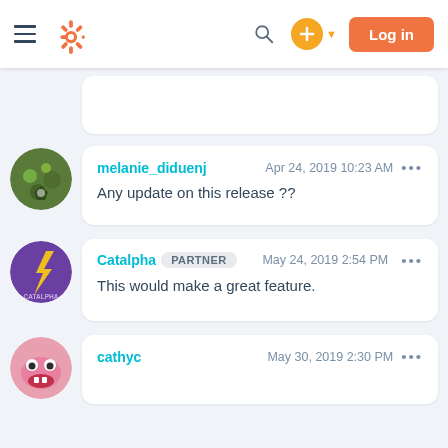HubSpot Community navigation bar with logo, search, plus button, and Log in button
melanie_diduenj  Apr 24, 2019 10:23 AM  Any update on this release ??
Catalpha  PARTNER  May 24, 2019 2:54 PM  This would make a great feature.
cathyc  May 30, 2019 2:30 PM